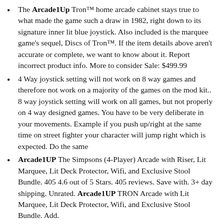The Arcade1Up Tron™ home arcade cabinet stays true to what made the game such a draw in 1982, right down to its signature inner lit blue joystick. Also included is the marquee game's sequel, Discs of Tron™. If the item details above aren't accurate or complete, we want to know about it. Report incorrect product info. More to consider Sale: $499.99
4 Way joystick setting will not work on 8 way games and therefore not work on a majority of the games on the mod kit.. 8 way joystick setting will work on all games, but not properly on 4 way designed games. You have to be very deliberate in your movements. Example if you push up/right at the same time on street fighter your character will jump right which is expected. Do the same
Arcade1UP The Simpsons (4-Player) Arcade with Riser, Lit Marquee, Lit Deck Protector, Wifi, and Exclusive Stool Bundle. 405 4.6 out of 5 Stars. 405 reviews. Save with. 3+ day shipping. Unrated. Arcade1UP TRON Arcade with Lit Marquee, Lit Deck Protector, Wifi, and Exclusive Stool Bundle. Add.
Shop Target for Living Room Furniture you will love at great low prices. Choose from Same Day Delivery, Drive Up or Order Pickup. Free standard shipping with $35 orders. Expect More. Pay Less.
Arcade1Up Pac-Man 40th Edition Home Arcade Machine, 7